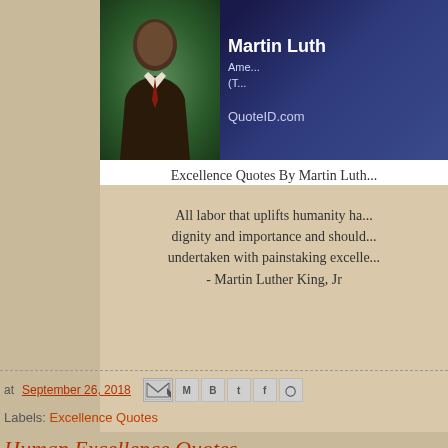[Figure (photo): Banner image of Martin Luther King Jr. with dark blue/navy background. Shows MLK photo on left and text 'Martin Luth... Ame... (T...' on right. URL 'QuoteID.com' partially visible.]
Excellence Quotes By Martin Luth...
All labor that uplifts humanity ha... dignity and importance and should... undertaken with painstaking excelle... - Martin Luther King, Jr
at September 26, 2018
Labels: Excellence Quotes
Human Excellence Quotes